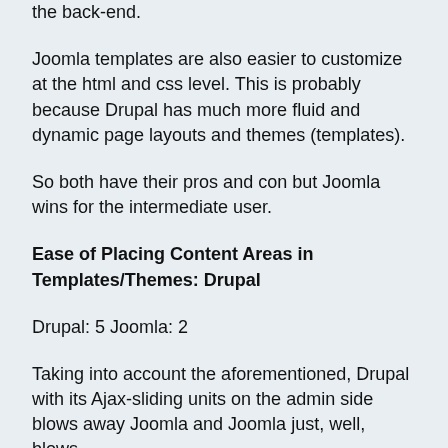the back-end.
Joomla templates are also easier to customize at the html and css level. This is probably because Drupal has much more fluid and dynamic page layouts and themes (templates).
So both have their pros and con but Joomla wins for the intermediate user.
Ease of Placing Content Areas in Templates/Themes: Drupal
Drupal: 5 Joomla: 2
Taking into account the aforementioned, Drupal with its Ajax-sliding units on the admin side blows away Joomla and Joomla just, well, blows.
With Drupal you just move the Blocks (content areas) to where you want them on the back-end, pretty much limited